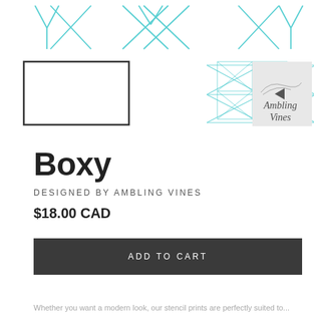[Figure (illustration): Product thumbnail images showing geometric/boxy pattern designs in teal/cyan lines, a rectangle outline, a diamond grid pattern, a video thumbnail with play button, and a cursive Ambling Vines logo on white backgrounds arranged in a grid row.]
Boxy
DESIGNED BY AMBLING VINES
$18.00 CAD
ADD TO CART
Whether you want a modern or traditional look, our stencil prints are perfect...